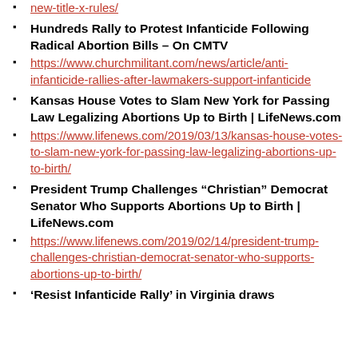new-title-x-rules/ (URL, truncated at top)
Hundreds Rally to Protest Infanticide Following Radical Abortion Bills – On CMTV
https://www.churchmilitant.com/news/article/anti-infanticide-rallies-after-lawmakers-support-infanticide
Kansas House Votes to Slam New York for Passing Law Legalizing Abortions Up to Birth | LifeNews.com
https://www.lifenews.com/2019/03/13/kansas-house-votes-to-slam-new-york-for-passing-law-legalizing-abortions-up-to-birth/
President Trump Challenges “Christian” Democrat Senator Who Supports Abortions Up to Birth | LifeNews.com
https://www.lifenews.com/2019/02/14/president-trump-challenges-christian-democrat-senator-who-supports-abortions-up-to-birth/
‘Resist Infanticide Rally’ in Virginia draws (truncated)